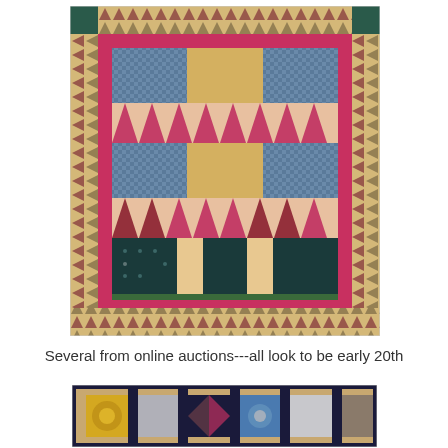[Figure (photo): A colorful antique quilt with a geometric pattern featuring bear paw or pinwheel blocks in red, blue, cream, and gold fabrics, surrounded by a flying geese border and a pink/magenta inner border. The quilt appears to be early 20th century.]
Several from online auctions---all look to be early 20th
[Figure (photo): Partial view of another antique quilt with alternating blocks featuring yellow, dark blue/navy, gray, blue floral, and other patterned fabrics set in a dark navy border. Early 20th century style.]